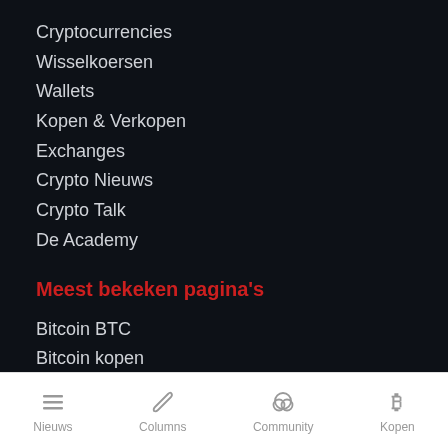Cryptocurrencies
Wisselkoersen
Wallets
Kopen & Verkopen
Exchanges
Crypto Nieuws
Crypto Talk
De Academy
Meest bekeken pagina's
Bitcoin BTC
Bitcoin kopen
Bitcoin koers
Ethereum ETH
Ethereum kopen
Ethereum koers (partially visible)
Nieuws | Columns | Community | Kopen